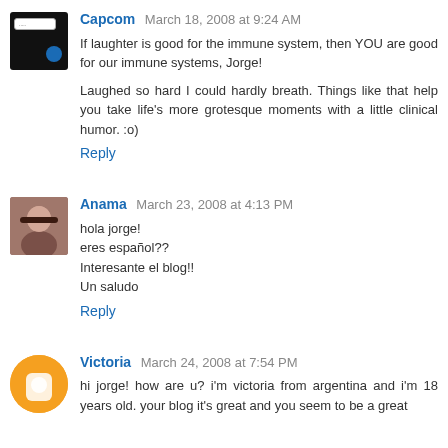Capcom March 18, 2008 at 9:24 AM
If laughter is good for the immune system, then YOU are good for our immune systems, Jorge!
Laughed so hard I could hardly breath. Things like that help you take life's more grotesque moments with a little clinical humor. :o)
Reply
Anama March 23, 2008 at 4:13 PM
hola jorge!
eres español??
Interesante el blog!!
Un saludo
Reply
Victoria March 24, 2008 at 7:54 PM
hi jorge! how are u? i'm victoria from argentina and i'm 18 years old. your blog it's great and you seem to be a great